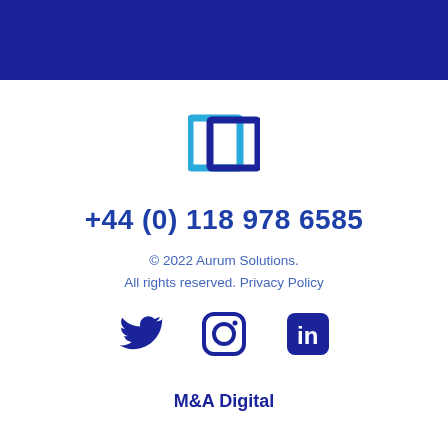[Figure (logo): Dark navy blue banner at the top of the page]
[Figure (logo): Aurum Solutions logo: a square outline icon with blue gradient, offset square design]
+44 (0) 118 978 6585
© 2022 Aurum Solutions. All rights reserved. Privacy Policy
[Figure (illustration): Social media icons: Twitter bird icon, Instagram camera icon, LinkedIn 'in' icon — all in dark navy blue]
M&A Digital